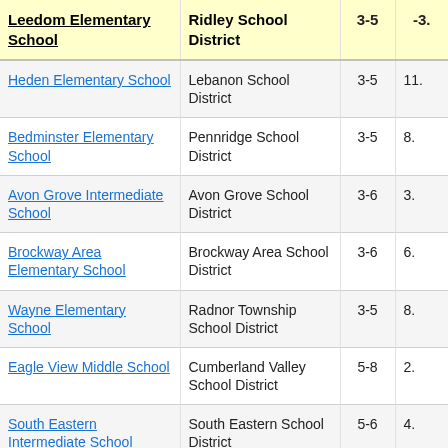| School | District | Grades | Value |
| --- | --- | --- | --- |
| Leedom Elementary School | Ridley School District | 3-5 | -3. |
| Heden Elementary School | Lebanon School District | 3-5 | 11. |
| Bedminster Elementary School | Pennridge School District | 3-5 | 8. |
| Avon Grove Intermediate School | Avon Grove School District | 3-6 | 3. |
| Brockway Area Elementary School | Brockway Area School District | 3-6 | 6. |
| Wayne Elementary School | Radnor Township School District | 3-5 | 8. |
| Eagle View Middle School | Cumberland Valley School District | 5-8 | 2. |
| South Eastern Intermediate School | South Eastern School District | 5-6 | 4. |
| [partial] | Cumberland |  |  |